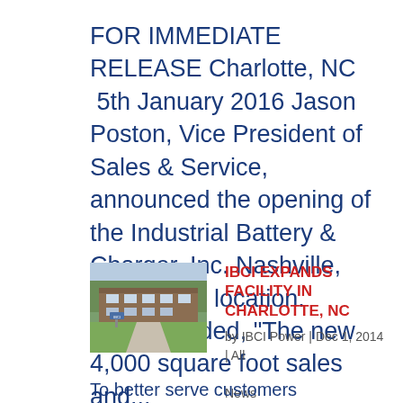FOR IMMEDIATE RELEASE Charlotte, NC 5th January 2016 Jason Poston, Vice President of Sales & Service, announced the opening of the Industrial Battery & Charger, Inc. Nashville, Tennessee location. Poston added, “The new 4,000 square foot sales and...
[Figure (photo): Exterior photo of an industrial/commercial building with green lawn and walkway, trees in background, winter/early spring setting.]
IBCI EXPANDS FACILITY IN CHARLOTTE, NC
by IBCI Power | Dec 1, 2014 | All News
To better serve customers nationwide